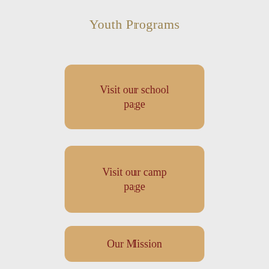Youth Programs
Visit our school page
Visit our camp page
Our Mission
[Figure (photo): Collage of youth program photos showing children engaged in activities]